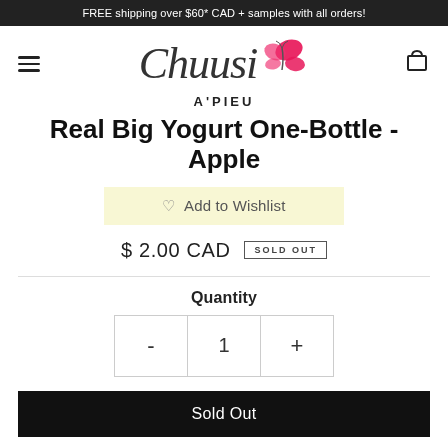FREE shipping over $60* CAD + samples with all orders!
[Figure (logo): Chuusi logo with cursive text and pink butterfly]
A'PIEU
Real Big Yogurt One-Bottle - Apple
♡ Add to Wishlist
$ 2.00 CAD   SOLD OUT
Quantity
- 1 +
Sold Out